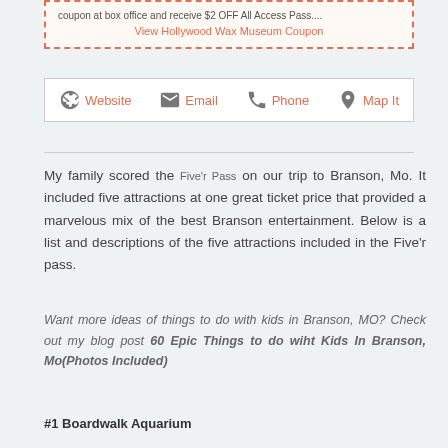coupon at box office and receive $2 OFF All Access Pass....
View Hollywood Wax Museum Coupon
[Figure (other): Navigation bar with icons for Website, Email, Phone, Map It]
My family scored the Five'r Pass on our trip to Branson, Mo. It included five attractions at one great ticket price that provided a marvelous mix of the best Branson entertainment. Below is a list and descriptions of the five attractions included in the Five'r pass.
Want more ideas of things to do with kids in Branson, MO? Check out my blog post 60 Epic Things to do wiht Kids In Branson, Mo(Photos Included)
#1 Boardwalk Aquarium